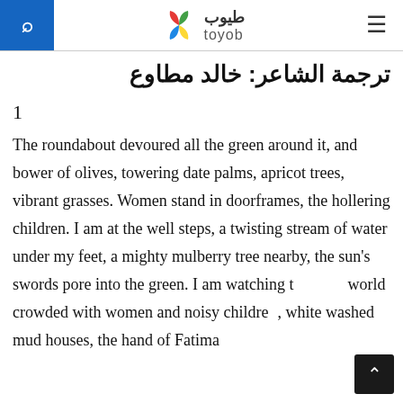toyob (طيوب) — search icon and hamburger menu
ترجمة الشاعر: خالد مطاوع
1
The roundabout devoured all the green around it, and bower of olives, towering date palms, apricot trees, vibrant grasses. Women stand in doorframes, the hollering children. I am at the well steps, a twisting stream of water under my feet, a mighty mulberry tree nearby, the sun's swords pore into the green. I am watching the world crowded with women and noisy children, white washed mud houses, the hand of Fatima